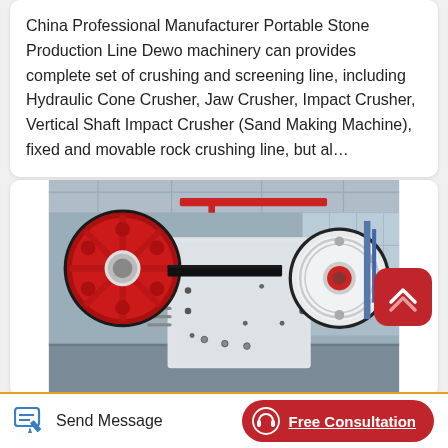China Professional Manufacturer Portable Stone Production Line Dewo machinery can provides complete set of crushing and screening line, including Hydraulic Cone Crusher, Jaw Crusher, Impact Crusher, Vertical Shaft Impact Crusher (Sand Making Machine), fixed and movable rock crushing line, but al...
[Figure (photo): Industrial jaw crusher machinery with large red and white flywheels/pulleys in a factory warehouse setting. Red circular wheel on left, large white body in center, white pulley on right with red center hub. Red overhead crane visible in background.]
Send Message
Free Consultation